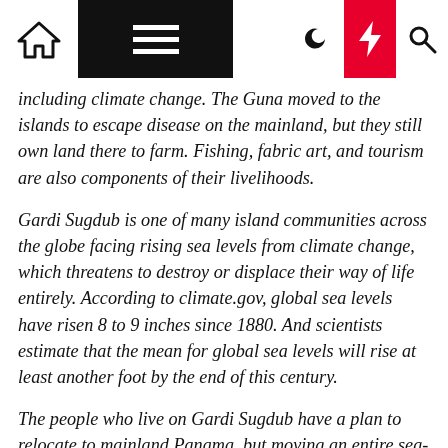Navigation bar with home, menu, moon, bolt, and search icons
including climate change. The Guna moved to the islands to escape disease on the mainland, but they still own land there to farm. Fishing, fabric art, and tourism are also components of their livelihoods.
Gardi Sugdub is one of many island communities across the globe facing rising sea levels from climate change, which threatens to destroy or displace their way of life entirely. According to climate.gov, global sea levels have risen 8 to 9 inches since 1880. And scientists estimate that the mean for global sea levels will rise at least another foot by the end of this century.
The people who live on Gardi Sugdub have a plan to relocate to mainland Panama, but moving an entire sea-centered community is not simple. In addition to building the infrastructure, there are cultural and logistical hurdles. Government-built housing will result